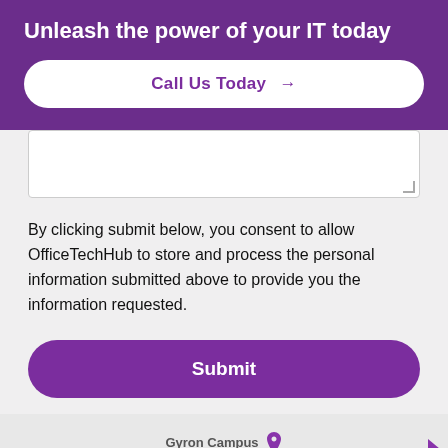Unleash the power of your IT today
Call Us Today →
[Figure (screenshot): Empty text area input field with resize handle in bottom right corner]
By clicking submit below, you consent to allow OfficeTechHub to store and process the personal information submitted above to provide you the information requested.
Submit
[Figure (map): Partial map showing Gyron Campus label with location pin marker and navigation arrow on right side]